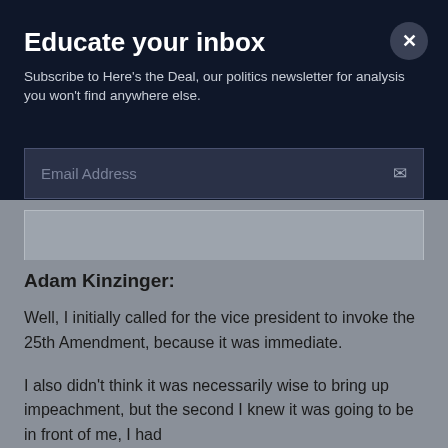Educate your inbox
Subscribe to Here's the Deal, our politics newsletter for analysis you won't find anywhere else.
Email Address
Adam Kinzinger:
Well, I initially called for the vice president to invoke the 25th Amendment, because it was immediate.
I also didn't think it was necessarily wise to bring up impeachment, but the second I knew it was going to be in front of me, I had